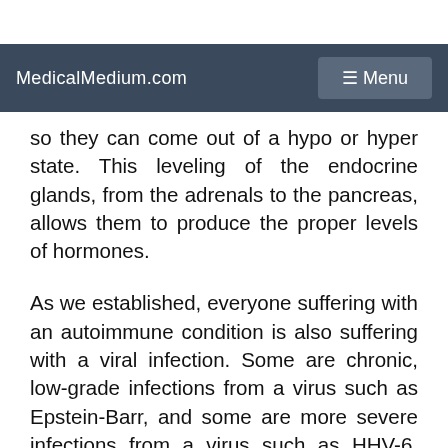MedicalMedium.com  ☰ Menu
so they can come out of a hypo or hyper state. This leveling of the endocrine glands, from the adrenals to the pancreas, allows them to produce the proper levels of hormones.
As we established, everyone suffering with an autoimmune condition is also suffering with a viral infection. Some are chronic, low-grade infections from a virus such as Epstein-Barr, and some are more severe infections from a virus such as HHV-6. Some people are struggling with trigeminal neuralgia caused by